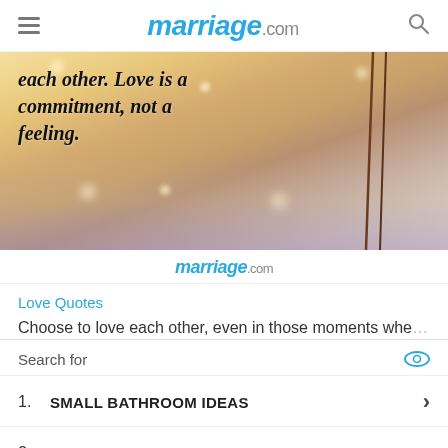marriage.com
[Figure (photo): Bokeh background photo with text overlay: 'each other. Love is a commitment, not a feeling.' overlaid in bold italic script on a warm golden/peach background with two thin stems visible.]
marriage.com
Love Quotes
Choose to love each other, even in those moments whe...
Search for
1. SMALL BATHROOM IDEAS
2. TIPS FOR FIRST-TIME HOME BUYERS